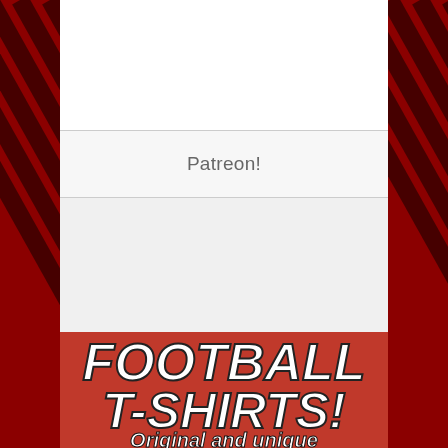Patreon!
[Figure (illustration): Football T-Shirts advertisement banner with red background showing bold italic text 'FOOTBALL T-SHIRTS!' and subtitle 'Original and unique']